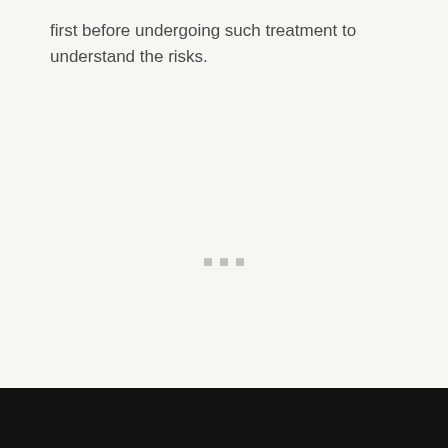first before undergoing such treatment to understand the risks.